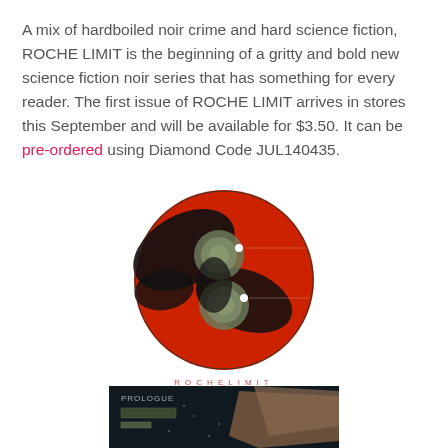A mix of hardboiled noir crime and hard science fiction, ROCHE LIMIT is the beginning of a gritty and bold new science fiction noir series that has something for every reader. The first issue of ROCHE LIMIT arrives in stores this September and will be available for $3.50. It can be pre-ordered using Diamond Code JUL140435.
[Figure (illustration): Circular comic book cover for ROCHE LIMIT with red background, black brushstroke shapes, and two circular disc shapes. Below the circular cover image is text reading ROCHE LIMIT in spaced letters in red/coral color. Below that are two smaller circular target/lens diagrams with red lines extending to the right.]
[Figure (screenshot): Bottom portion of a dark comic book interior page showing PROLOGUE text and dark cityscape scene, partially cut off.]